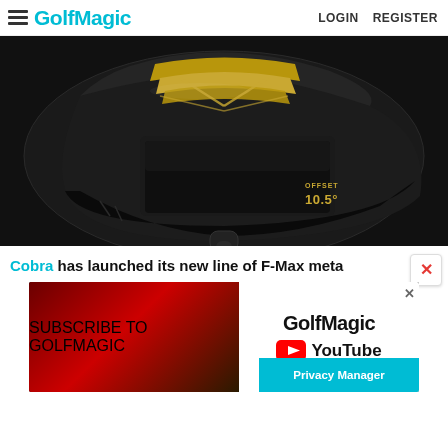GolfMagic  LOGIN  REGISTER
[Figure (photo): Close-up product photo of a Cobra F-Max Offset driver clubhead in black and gold, showing the 10.5 degree loft marking]
Cobra has launched its new line of F-Max meta
[Figure (screenshot): YouTube channel advertisement banner: Subscribe to GolfMagic on YouTube. Left side shows a dramatic red-toned golfer silhouette with bold italic white text 'SUBSCRIBE TO GOLFMAGIC'. Right side shows GolfMagic logo with YouTube play button icon.]